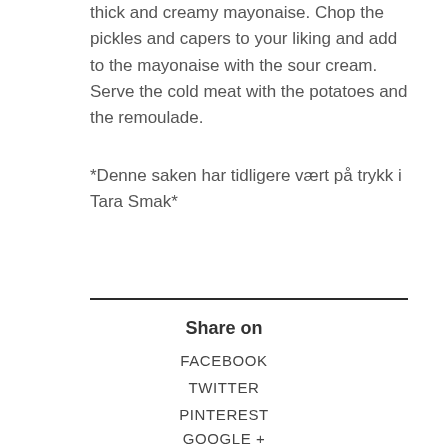thick and creamy mayonaise. Chop the pickles and capers to your liking and add to the mayonaise with the sour cream. Serve the cold meat with the potatoes and the remoulade.
*Denne saken har tidligere vært på trykk i Tara Smak*
Share on
FACEBOOK
TWITTER
PINTEREST
GOOGLE +